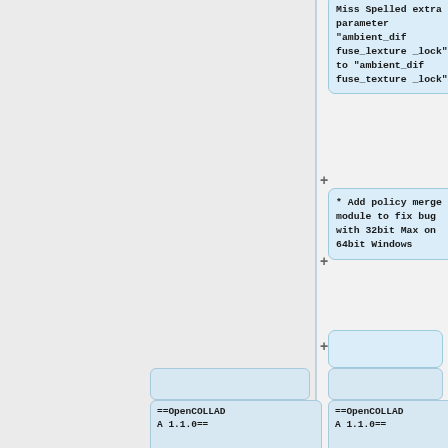Miss Spelled extra parameter "ambient_diffuse_lexture_lock" to "ambient_diffuse_texture_lock"
* Add policy merge module to fix bug with 32bit Max on 64bit Windows
==OpenCOLLADA 1.1.0==
==OpenCOLLADA 1.1.0==